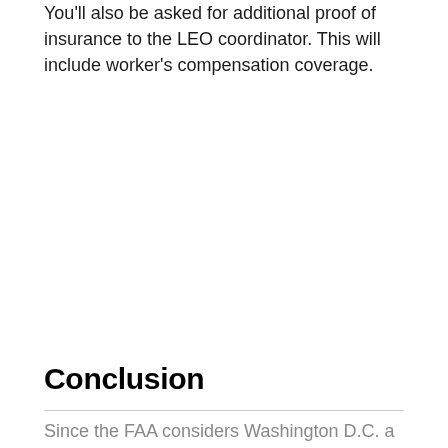You'll also be asked for additional proof of insurance to the LEO coordinator. This will include worker's compensation coverage.
Conclusion
Since the FAA considers Washington D.C. a no-fly